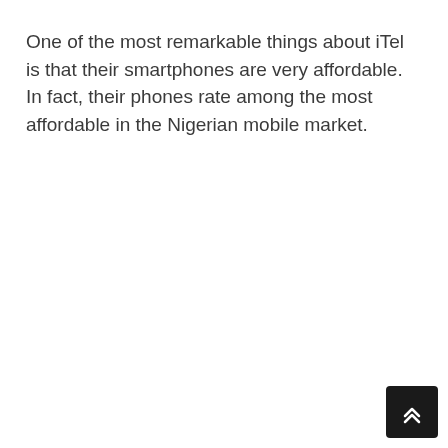One of the most remarkable things about iTel is that their smartphones are very affordable. In fact, their phones rate among the most affordable in the Nigerian mobile market.